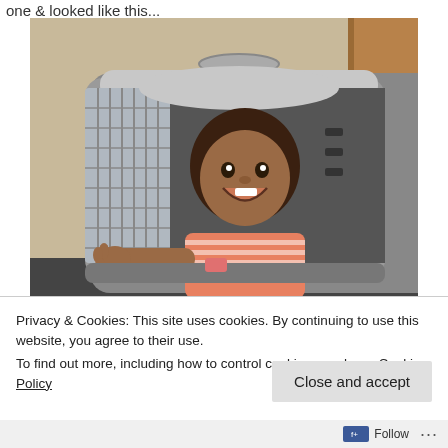one & looked like this...
[Figure (photo): A smiling toddler sitting inside a large pet carrier/crate, wearing a pink striped outfit, reaching forward with one hand toward the camera. The crate is white/grey plastic with a metal wire door, placed against a beige wall near a wooden door.]
Privacy & Cookies: This site uses cookies. By continuing to use this website, you agree to their use.
To find out more, including how to control cookies, see here: Cookie Policy
Close and accept
Follow